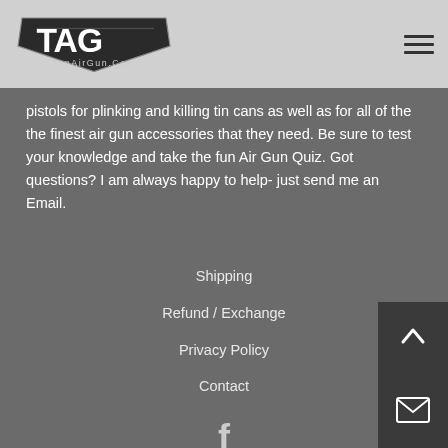TopAirGun.com — navigation header with logo and hamburger menu
pistols for plinking and killing tin cans as well as for all of the the finest air gun accessories that they need. Be sure to test your knowledge and take the fun Air Gun Quiz. Got questions? I am always happy to help- just send me an Email.
Shipping
Refund / Exchange
Privacy Policy
Contact
[Figure (logo): Facebook icon]
[Figure (logo): Twitter icon]
[Figure (logo): YouTube icon]
[Figure (other): Scroll to top button with upward arrow]
[Figure (other): Email/envelope contact button]